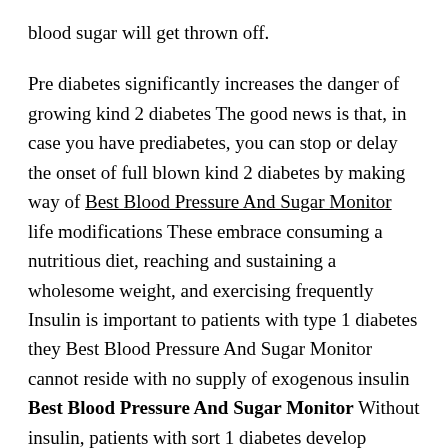blood sugar will get thrown off.
Pre diabetes significantly increases the danger of growing kind 2 diabetes The good news is that, in case you have prediabetes, you can stop or delay the onset of full blown kind 2 diabetes by making way of Best Blood Pressure And Sugar Monitor life modifications These embrace consuming a nutritious diet, reaching and sustaining a wholesome weight, and exercising frequently Insulin is important to patients with type 1 diabetes they Best Blood Pressure And Sugar Monitor cannot reside with no supply of exogenous insulin Best Blood Pressure And Sugar Monitor Without insulin, patients with sort 1 diabetes develop severely elevated blood sugar levels.
DM that begins during pregnancy owing to changes in glucose Best Blood Pressure And Sugar Monitor